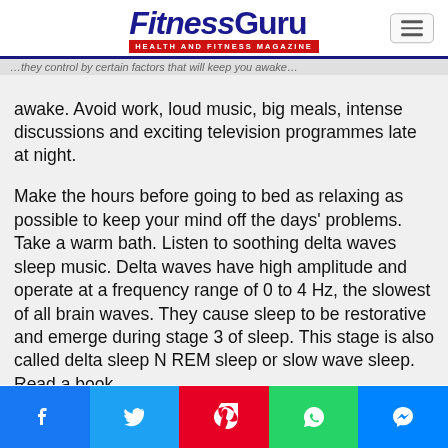FitnessGuru HEALTH AND FITNESS MAGAZINE
awake. Avoid work, loud music, big meals, intense discussions and exciting television programmes late at night.
Make the hours before going to bed as relaxing as possible to keep your mind off the days' problems. Take a warm bath. Listen to soothing delta waves sleep music. Delta waves have high amplitude and operate at a frequency range of 0 to 4 Hz, the slowest of all brain waves. They cause sleep to be restorative and emerge during stage 3 of sleep. This stage is also called delta sleep N REM sleep or slow wave sleep. Read a book.
Save your bedroom for bedroom activities. Entering it
Facebook Twitter Pinterest WhatsApp Messenger